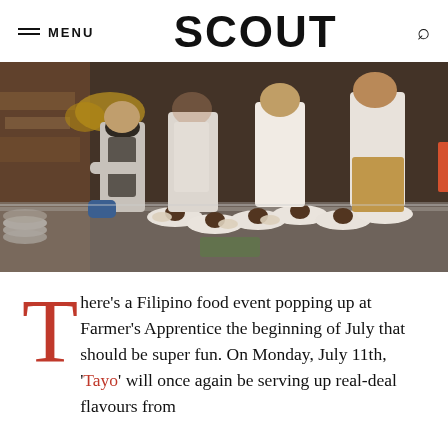MENU | SCOUT | Search
[Figure (photo): Chefs in a professional kitchen plating dishes on white plates along a stainless steel counter. Multiple cooks wearing white t-shirts and aprons are leaning over the plates, carefully arranging food components.]
There’s a Filipino food event popping up at Farmer’s Apprentice the beginning of July that should be super fun. On Monday, July 11th, ‘Tayo’ will once again be serving up real-deal flavours from